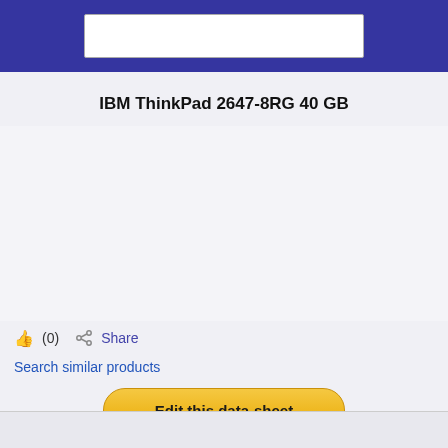IBM ThinkPad 2647-8RG 40 GB
[Figure (other): Empty image placeholder area for product photo]
👍 (0)   Share
Search similar products
Edit this data-sheet